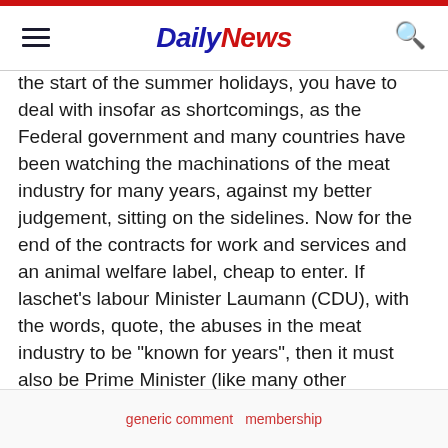Daily News
the start of the summer holidays, you have to deal with insofar as shortcomings, as the Federal government and many countries have been watching the machinations of the meat industry for many years, against my better judgement, sitting on the sidelines. Now for the end of the contracts for work and services and an animal welfare label, cheap to enter. If laschet's labour Minister Laumann (CDU), with the words, quote, the abuses in the meat industry to be "known for years", then it must also be Prime Minister (like many other politicians) questions, where have you been all these years. Ever in the collection of workers from Eastern Europe, or in the animal factories in Germany accommodation?
generic comment  membership